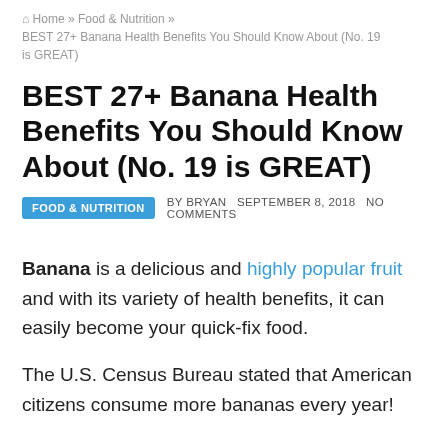Home » Food & Nutrition »
BEST 27+ Banana Health Benefits You Should Know About (No. 19 is GREAT)
BEST 27+ Banana Health Benefits You Should Know About (No. 19 is GREAT)
FOOD & NUTRITION   BY BRYAN   SEPTEMBER 8, 2018   NO COMMENTS
Banana is a delicious and highly popular fruit and with its variety of health benefits, it can easily become your quick-fix food.
The U.S. Census Bureau stated that American citizens consume more bananas every year!